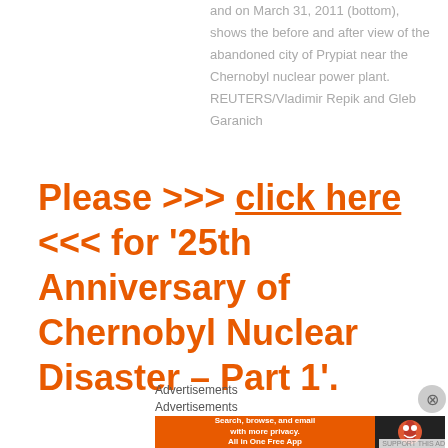and on March 31, 2011 (bottom), shows the before and after view of the abandoned city of Prypiat near the Chernobyl nuclear power plant. REUTERS/Vladimir Repik and Gleb Garanich
Please >>> click here <<< for '25th Anniversary of Chernobyl Nuclear Disaster – Part 1'.
Advertisements
Advertisements
[Figure (screenshot): DuckDuckGo advertisement banner: 'Search, browse, and email with more privacy. All in One Free App' with DuckDuckGo logo on dark background.]